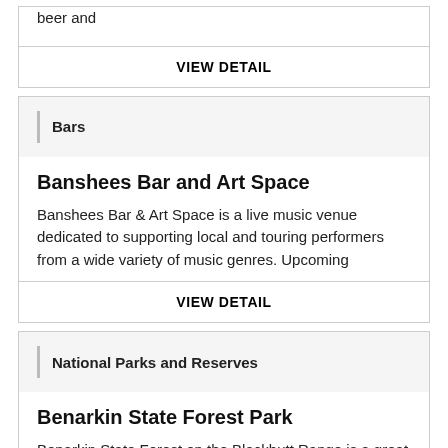beer and
VIEW DETAIL
Bars
Banshees Bar and Art Space
Banshees Bar & Art Space is a live music venue dedicated to supporting local and touring performers from a wide variety of music genres. Upcoming
VIEW DETAIL
National Parks and Reserves
Benarkin State Forest Park
Benarkin State Forest on the Blackbutt Range is a great spot to picnic, fish, spot platypus or hike or ride on forest trails.